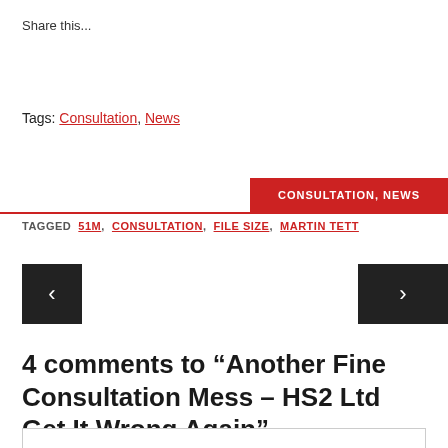Share this...
Tags: Consultation, News
CONSULTATION, NEWS
TAGGED 51M, CONSULTATION, FILE SIZE, MARTIN TETT
[Figure (other): Left navigation arrow button (dark background with white chevron)]
[Figure (other): Right navigation arrow button (dark background with white chevron)]
4 comments to “Another Fine Consultation Mess – HS2 Ltd Get It Wrong Again”